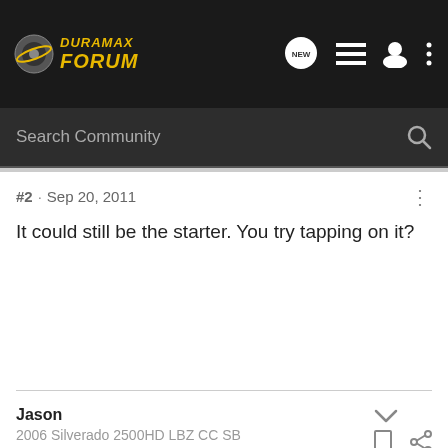DURAMAX FORUM
Search Community
#2 · Sep 20, 2011
It could still be the starter. You try tapping on it?
Jason
2006 Silverado 2500HD LBZ CC SB
jc1843 · Premium Member